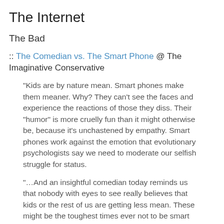The Internet
The Bad
:: The Comedian vs. The Smart Phone @ The Imaginative Conservative
“Kids are by nature mean. Smart phones make them meaner. Why? They can’t see the faces and experience the reactions of those they diss. Their “humor” is more cruelly fun than it might otherwise be, because it’s unchastened by empathy. Smart phones work against the emotion that evolutionary psychologists say we need to moderate our selfish struggle for status.
“…And an insightful comedian today reminds us that nobody with eyes to see really believes that kids or the rest of us are getting less mean. These might be the toughest times ever not to be smart and pretty.”